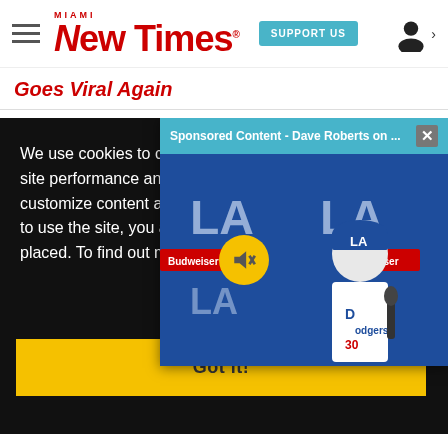[Figure (logo): Miami New Times logo in red]
Goes Viral Again
We use cookies to collect and analyze information on site performance and usage, and to enhance and customize content and advertisements. By continuing to use the site, you agree to allow cookies to be placed. To find out more, visit our cookies policy a
[Figure (screenshot): Sponsored Content video popup showing Dave Roberts at a Dodgers press conference with a mute button overlay]
Got it!